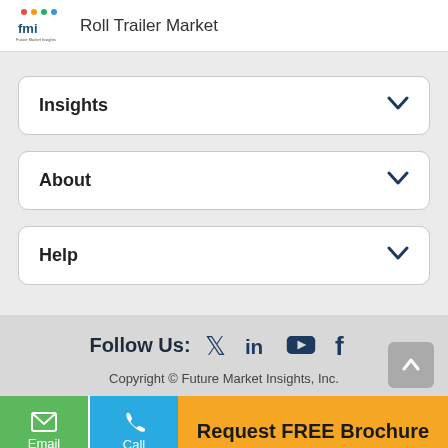Roll Trailer Market
Insights
About
Help
Follow Us:
Copyright © Future Market Insights, Inc.
Email
Call
Request FREE Brochure